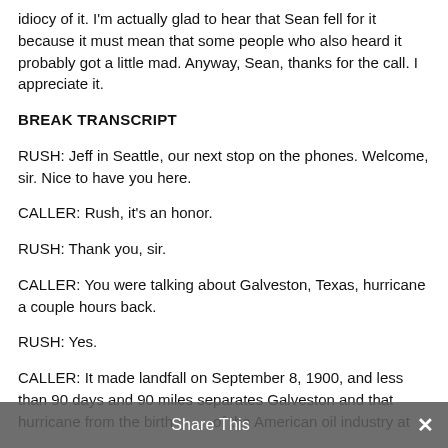idiocy of it. I'm actually glad to hear that Sean fell for it because it must mean that some people who also heard it probably got a little mad. Anyway, Sean, thanks for the call. I appreciate it.
BREAK TRANSCRIPT
RUSH: Jeff in Seattle, our next stop on the phones. Welcome, sir. Nice to have you here.
CALLER: Rush, it's an honor.
RUSH: Thank you, sir.
CALLER: You were talking about Galveston, Texas, hurricane a couple hours back.
RUSH: Yes.
CALLER: It made landfall on September 8, 1900, and less than 90 days and 90 miles separates Galveston and that hurricane from the birth of the American oil industry at
Share This ×